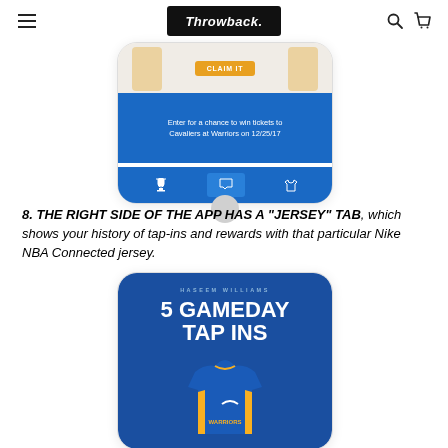Throwback.
[Figure (screenshot): Mobile app screenshot showing a chance to win tickets to Cavaliers at Warriors on 12/25/17, with a blue screen and navigation bar at bottom]
8. THE RIGHT SIDE OF THE APP HAS A “JERSEY” TAB, which shows your history of tap-ins and rewards with that particular Nike NBA Connected jersey.
[Figure (screenshot): Mobile app screenshot showing '5 GAMEDAY TAP INS' for Haseem Williams, with a Golden State Warriors jersey displayed on a blue background]